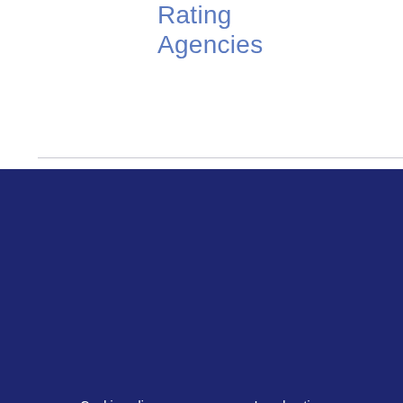Rating Agencies
Cookie policy
Data protection
Legal notice
Sitemap
Careers
FAQ
Glossary
Contact Us